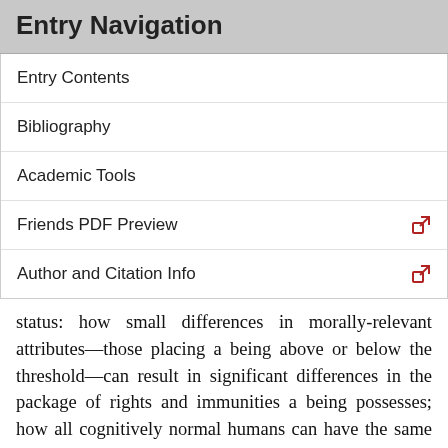Entry Navigation
Entry Contents
Bibliography
Academic Tools
Friends PDF Preview
Author and Citation Info
status: how small differences in morally-relevant attributes—those placing a being above or below the threshold—can result in significant differences in the package of rights and immunities a being possesses; how all cognitively normal humans can have the same package of rights and immunities despite differing greatly in the attributes that place them above the threshold. Those who defend the standard concept of moral status seek a theory to underwrite its range and threshold features; those who attack it argue that no plausible moral theory could do so.